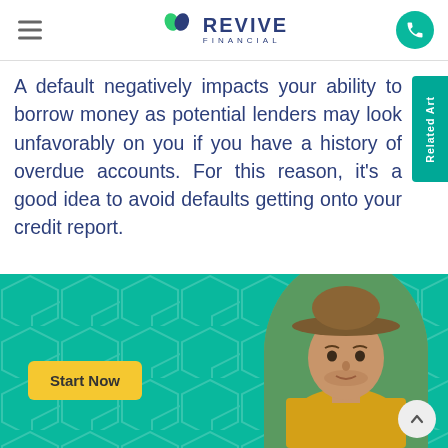Revive Financial
A default negatively impacts your ability to borrow money as potential lenders may look unfavorably on you if you have a history of overdue accounts. For this reason, it's a good idea to avoid defaults getting onto your credit report.
[Figure (photo): Promotional banner with teal background and hexagonal pattern, a yellow 'Start Now' button, and a circular photo of a man wearing a wide-brimmed hat and yellow high-vis shirt]